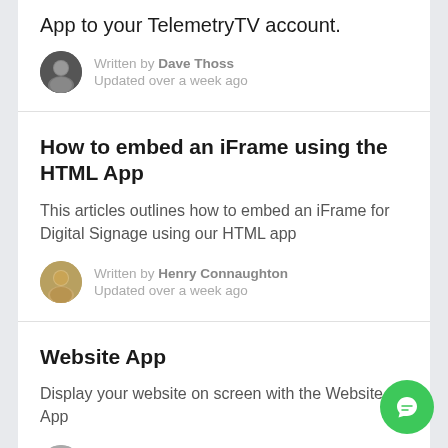App to your TelemetryTV account.
Written by Dave Thoss
Updated over a week ago
How to embed an iFrame using the HTML App
This articles outlines how to embed an iFrame for Digital Signage using our HTML app
Written by Henry Connaughton
Updated over a week ago
Website App
Display your website on screen with the Website App
Written by Kelli